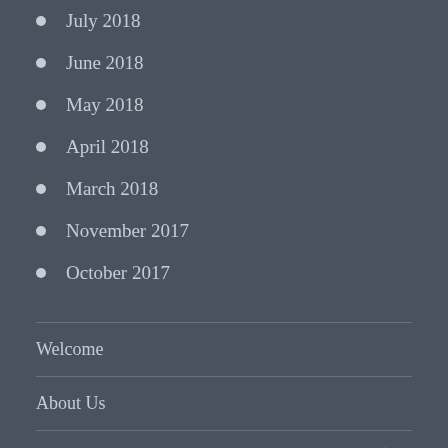July 2018
June 2018
May 2018
April 2018
March 2018
November 2017
October 2017
Welcome
About Us
Tumbleweed's Great Loop 2021-2022
Misty Pearl's Down East Circle 2019